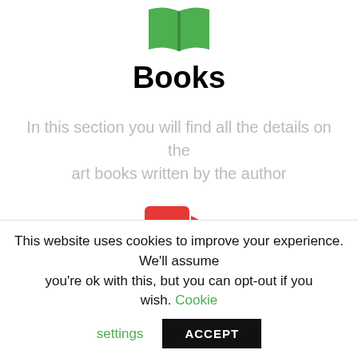[Figure (illustration): Green open book icon at the top center]
Books
In this section you will find all the details on the art books written by the author
[Figure (illustration): Red video camera icon]
Video
Cesare Catania’s art has never been so alive!
This website uses cookies to improve your experience. We'll assume you're ok with this, but you can opt-out if you wish. Cookie settings ACCEPT